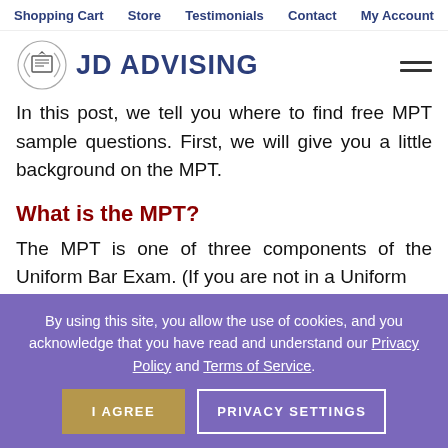Shopping Cart   Store   Testimonials   Contact   My Account
[Figure (logo): JD Advising logo with book/diploma icon and text 'JD ADVISING']
In this post, we tell you where to find free MPT sample questions. First, we will give you a little background on the MPT.
What is the MPT?
The MPT is one of three components of the Uniform Bar Exam. (If you are not in a Uniform
By using this site, you allow the use of cookies, and you acknowledge that you have read and understand our Privacy Policy and Terms of Service.
I AGREE   PRIVACY SETTINGS